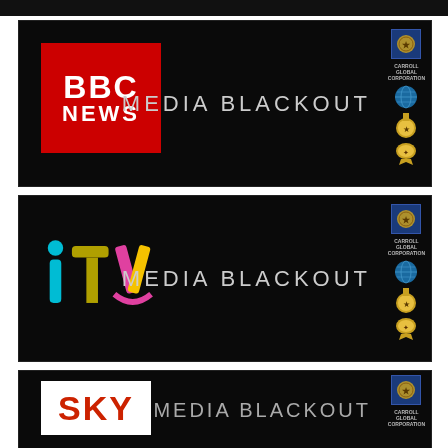[Figure (illustration): Black banner with BBC News logo (red rectangle with white text 'BBC NEWS') on the left, 'MEDIA BLACKOUT' text in silver/grey in the center-right, and Carroll Global Corporation logos (blue shield, globe, medal emblems) on the far right.]
[Figure (illustration): Black banner with ITV logo (colorful lettering in cyan, magenta, yellow/gold) on the left, 'MEDIA BLACKOUT' text in silver/grey in the center-right, and Carroll Global Corporation logos on the far right.]
[Figure (illustration): Black banner with SKY logo (white background red text) on the left, 'MEDIA BLACKOUT' text partially visible, and Carroll Global Corporation logos on the far right. Panel is partially cut off at bottom of page.]